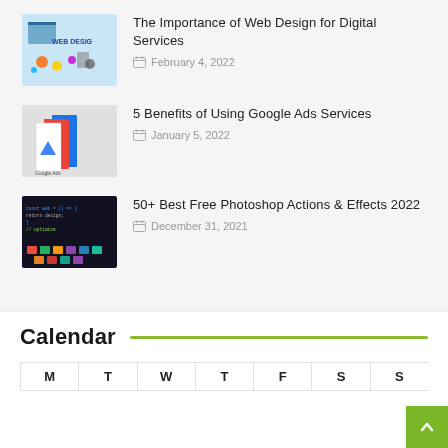[Figure (photo): Web design thumbnail image with colorful icons and WEB DESIGN text]
The Importance of Web Design for Digital Services
February 4, 2022
[Figure (photo): Google Ads brochure/booklet thumbnail image]
5 Benefits of Using Google Ads Services
January 5, 2022
[Figure (photo): Dark background with colorful keyboard keys - Photoshop actions thumbnail]
50+ Best Free Photoshop Actions & Effects 2022
December 31, 2021
Calendar
| M | T | W | T | F | S | S |
| --- | --- | --- | --- | --- | --- | --- |